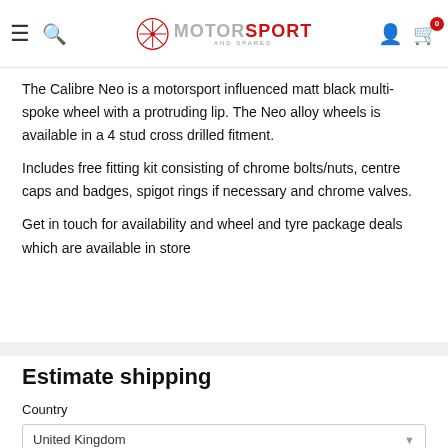Motorsport and Spares — navigation header
The Calibre Neo is a motorsport influenced matt black multi-spoke wheel with a protruding lip. The Neo alloy wheels is available in a 4 stud cross drilled fitment.
Includes free fitting kit consisting of chrome bolts/nuts, centre caps and badges, spigot rings if necessary and chrome valves.
Get in touch for availability and wheel and tyre package deals which are available in store
Estimate shipping
Country
United Kingdom